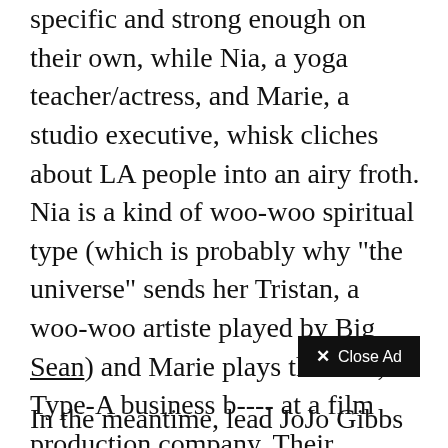specific and strong enough on their own, while Nia, a yoga teacher/actress, and Marie, a studio executive, whisk cliches about LA people into an airy froth. Nia is a kind of woo-woo spiritual type (which is probably why "the universe" sends her Tristan, a woo-woo artiste played by Big Sean) and Marie plays the cold, Type-A business b---- at a film production company. Their overlapping values and interests escape us at the start, and hopefully the trio's chemistry deepens more as Twenties continues its eight episodes.
✕ Close Ad
In the meantime, lead JoJo Gibbs fills it with